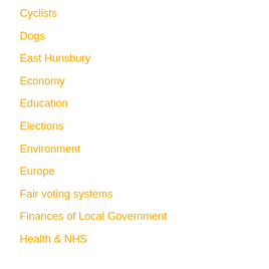Cyclists
Dogs
East Hunsbury
Economy
Education
Elections
Environment
Europe
Fair voting systems
Finances of Local Government
Health & NHS